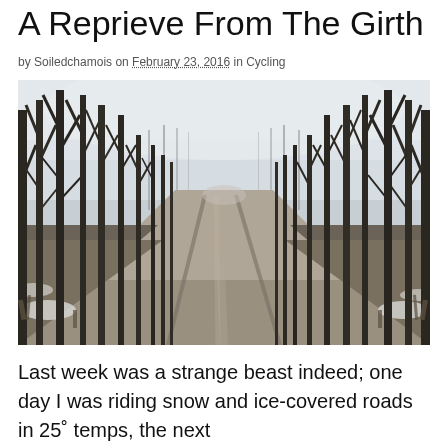A Reprieve From The Girth
by Soiledchamois on February 23, 2016 in Cycling
[Figure (photo): A dirt road stretching into the distance, lined on both sides by bare deciduous trees in winter. The sky is overcast and pale grey-white. The road has two parallel tire track lines and brown/grey earth. Small patches of snow are visible at the road edges.]
Last week was a strange beast indeed; one day I was riding snow and ice-covered roads in 25˚ temps, the next